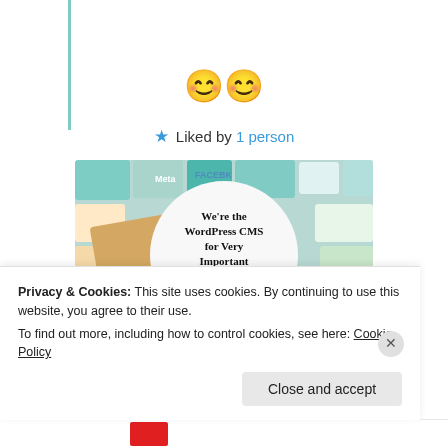😊😊
★ Liked by 1 person
[Figure (illustration): WordPress VIP advertisement banner showing a collage of brand logos (Meta, Facebook, Capgemini, Merck, Salesforce, etc.) around a white circle containing the text 'We're the WordPress CMS for Very Important Content' with WordPress VIP logo and a 'Learn more' button.]
Privacy & Cookies: This site uses cookies. By continuing to use this website, you agree to their use.
To find out more, including how to control cookies, see here: Cookie Policy
Close and accept